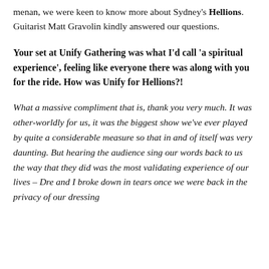menan, we were keen to know more about Sydney's Hellions. Guitarist Matt Gravolin kindly answered our questions.
Your set at Unify Gathering was what I'd call 'a spiritual experience', feeling like everyone there was along with you for the ride. How was Unify for Hellions?!
What a massive compliment that is, thank you very much. It was other-worldly for us, it was the biggest show we've ever played by quite a considerable measure so that in and of itself was very daunting. But hearing the audience sing our words back to us the way that they did was the most validating experience of our lives – Dre and I broke down in tears once we were back in the privacy of our dressing